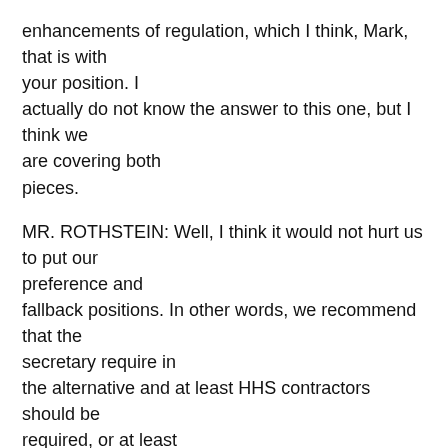enhancements of regulation, which I think, Mark, that is with your position. I actually do not know the answer to this one, but I think we are covering both pieces.
MR. ROTHSTEIN: Well, I think it would not hurt us to put our preference and fallback positions. In other words, we recommend that the secretary require in the alternative and at least HHS contractors should be required, or at least the secretary should publish guidance.
DR. COHN: I guess the question to me is – I guess I am sort of thinking that the intent here is to get into a position w is the